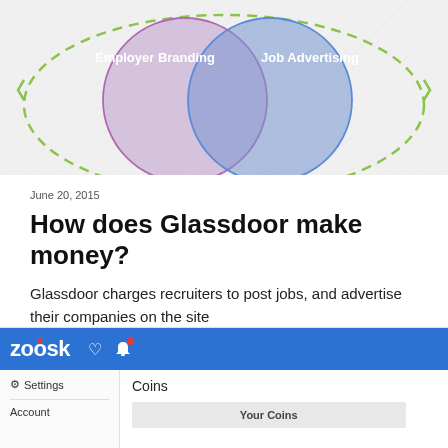[Figure (infographic): Venn diagram showing two overlapping circles: 'Employer Branding' (purple/lavender circle on the left) and 'Job Advertising' (blue circle on the right), with a green dashed oval surrounding both. Background is light gray with diagonal hatching.]
June 20, 2015
How does Glassdoor make money?
Glassdoor charges recruiters to post jobs, and advertise their companies on the site
[Figure (screenshot): Screenshot of the Zoosk website interface showing the blue navigation bar with Zoosk logo, heart icon, and notification bell with red badge. Below is a sidebar with Settings and Account options, and main content area showing 'Coins' heading and 'Your Coins' button.]